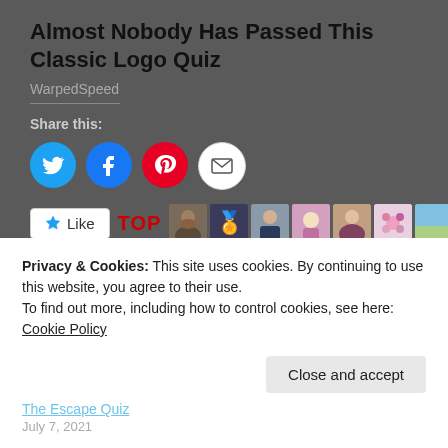Almost Nobody Has Passed This Classic Logo Quiz
WarpedSpeed
Share this:
[Figure (other): Social share buttons: Twitter (blue circle), Facebook (blue circle), Pinterest (red circle), Email (white circle)]
[Figure (other): Like button with star icon labeled Like, TOP label in red, and a row of blogger avatar photos]
25 bloggers like this.
Related
Taking the Captain's Quiz 3...    Taking the Captain's Quiz...
Privacy & Cookies: This site uses cookies. By continuing to use this website, you agree to their use.
To find out more, including how to control cookies, see here: Cookie Policy
Close and accept
The Escape Quiz
July 7, 2021